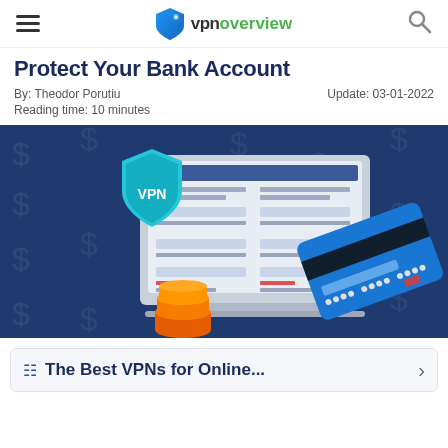vpnoverview — navigation bar with hamburger menu and search icon
Protect Your Bank Account
By: Theodor Porutiu
Update: 03-01-2022
Reading time: 10 minutes
[Figure (illustration): Hero illustration on dark blue background with dollar sign watermarks. Shows a laptop screen with a banking/form interface, a VPN shield badge (cyan, labelled VPN) overlapping the top-left of the laptop, a stack of gold coins at the bottom-left, and a blue credit card with black stripe at the bottom-right.]
The Best VPNs for Online...